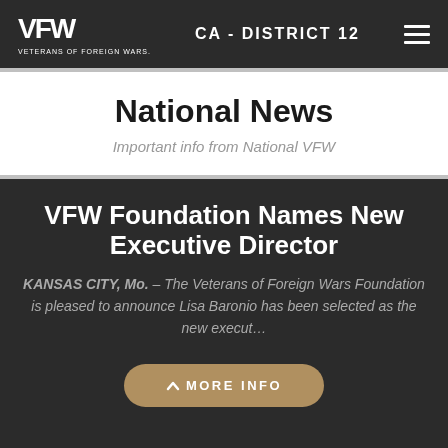VFW VETERANS OF FOREIGN WARS | CA - DISTRICT 12
National News
Important info from National VFW
VFW Foundation Names New Executive Director
KANSAS CITY, Mo. – The Veterans of Foreign Wars Foundation is pleased to announce Lisa Baronio has been selected as the new execut...